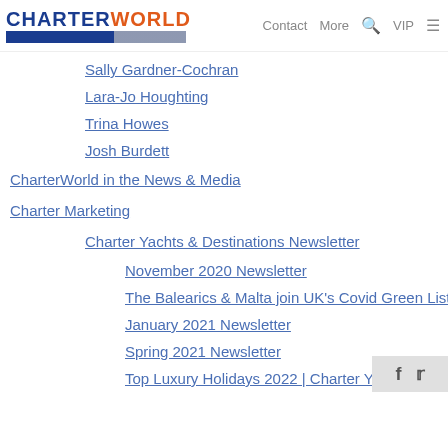CHARTERWORLD | Contact | More | VIP
Sally Gardner-Cochran
Lara-Jo Houghting
Trina Howes
Josh Burdett
CharterWorld in the News & Media
Charter Marketing
Charter Yachts & Destinations Newsletter
November 2020 Newsletter
The Balearics & Malta join UK's Covid Green List
January 2021 Newsletter
Spring 2021 Newsletter
Top Luxury Holidays 2022 | Charter Yo…